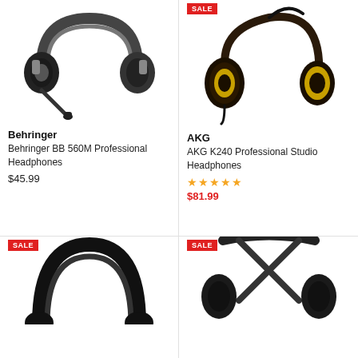[Figure (photo): Behringer BB 560M professional headphones with microphone boom, black and grey]
Behringer
Behringer BB 560M Professional Headphones
$45.99
[Figure (photo): AKG K240 Professional Studio Headphones, black with gold accents, SALE badge]
AKG
AKG K240 Professional Studio Headphones
★★★★★
$81.99
[Figure (photo): Black headphones top view, SALE badge]
[Figure (photo): Black over-ear headphones, SALE badge]